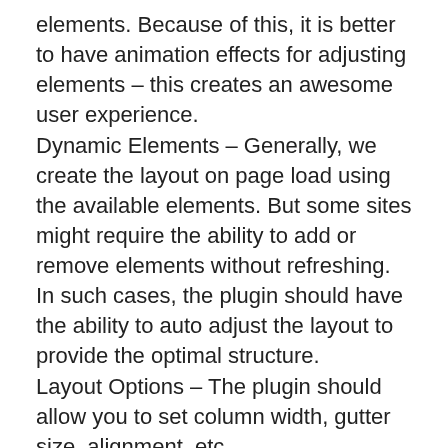elements. Because of this, it is better to have animation effects for adjusting elements – this creates an awesome user experience. Dynamic Elements – Generally, we create the layout on page load using the available elements. But some sites might require the ability to add or remove elements without refreshing. In such cases, the plugin should have the ability to auto adjust the layout to provide the optimal structure. Layout Options – The plugin should allow you to set column width, gutter size, alignment, etc. Developers and designers are accustomed to seeing web pages laid out with CSS floats. But this common type of layout doesn't take the size of the elements into consideration. Instead, it adds elements one after another, first in the horizontal direction, then vertically.
(PORTFOLIO ) CUSTOM CSS OPTION